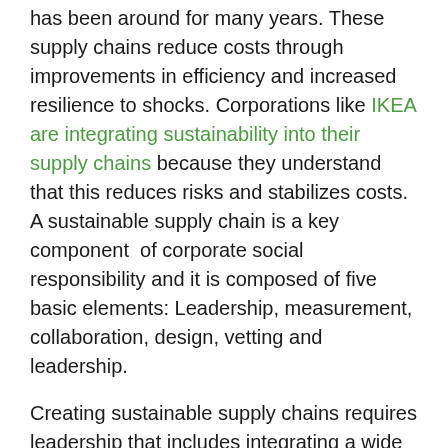has been around for many years. These supply chains reduce costs through improvements in efficiency and increased resilience to shocks. Corporations like IKEA are integrating sustainability into their supply chains because they understand that this reduces risks and stabilizes costs. A sustainable supply chain is a key component of corporate social responsibility and it is composed of five basic elements: Leadership, measurement, collaboration, design, vetting and leadership.
Creating sustainable supply chains requires leadership that includes integrating a wide range of metrics. Such measurement is critical as it provides proof of value and affords insights that can help companies to enhance efficiency throughout their supply chains. Perhaps the most important single dimension of a sustainable supply chain involves collaboration between buyers and suppliers that improves processes and reduce consumption. Such